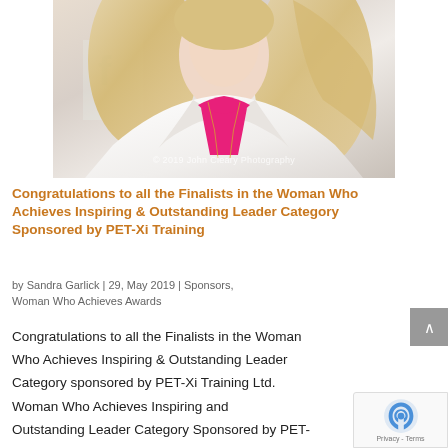[Figure (photo): Portrait photo of a blonde woman wearing a white blazer over a bright pink/magenta top with a gold chain necklace, photographed at an event with a banner in the background. Watermark reads '© 2019 John Cleary Photography'.]
Congratulations to all the Finalists in the Woman Who Achieves Inspiring & Outstanding Leader Category Sponsored by PET-Xi Training
by Sandra Garlick | 29, May 2019 | Sponsors, Woman Who Achieves Awards
Congratulations to all the Finalists in the Woman Who Achieves Inspiring & Outstanding Leader Category sponsored by PET-Xi Training Ltd. Woman Who Achieves Inspiring and Outstanding Leader Category Sponsored by PET-Xi Training @petxitraining Helena Flowers,